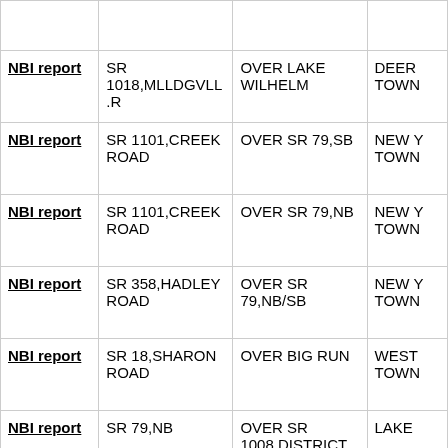| NBI report | SR 1018,MLLDGVLL.R | OVER LAKE WILHELM | DEER TOWN |
| NBI report | SR 1101,CREEK ROAD | OVER SR 79,SB | NEW Y TOWN |
| NBI report | SR 1101,CREEK ROAD | OVER SR 79,NB | NEW Y TOWN |
| NBI report | SR 358,HADLEY ROAD | OVER SR 79,NB/SB | NEW Y TOWN |
| NBI report | SR 18,SHARON ROAD | OVER BIG RUN | WEST TOWN |
| NBI report | SR 79,NB | OVER SR 1008,DISTRICT RD | LAKE |